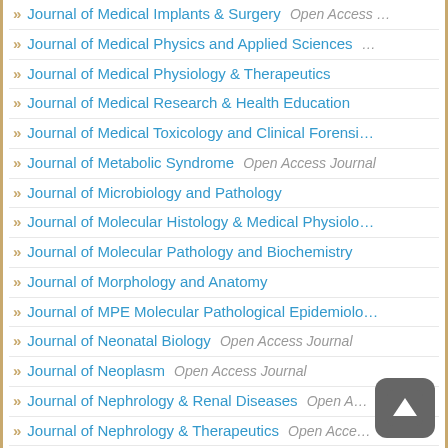Journal of Medical Implants & Surgery Open Access …
Journal of Medical Physics and Applied Sciences …
Journal of Medical Physiology & Therapeutics
Journal of Medical Research & Health Education
Journal of Medical Toxicology and Clinical Forensi…
Journal of Metabolic Syndrome Open Access Journal
Journal of Microbiology and Pathology
Journal of Molecular Histology & Medical Physiolo…
Journal of Molecular Pathology and Biochemistry
Journal of Morphology and Anatomy
Journal of MPE Molecular Pathological Epidemiolo…
Journal of Neonatal Biology Open Access Journal
Journal of Neoplasm Open Access Journal
Journal of Nephrology & Renal Diseases Open A…
Journal of Nephrology & Therapeutics Open Acce…
Journal of Neuroendocrinology Research